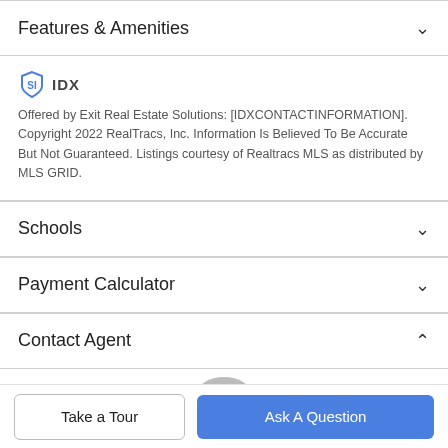Features & Amenities
[Figure (logo): IDX logo with shield icon and text 'IDX']
Offered by Exit Real Estate Solutions: [IDXCONTACTINFORMATION]. Copyright 2022 RealTracs, Inc. Information Is Believed To Be Accurate But Not Guaranteed. Listings courtesy of Realtracs MLS as distributed by MLS GRID.
Schools
Payment Calculator
Contact Agent
[Figure (photo): Partial agent avatar/photo circle at bottom of contact section]
Take a Tour
Ask A Question